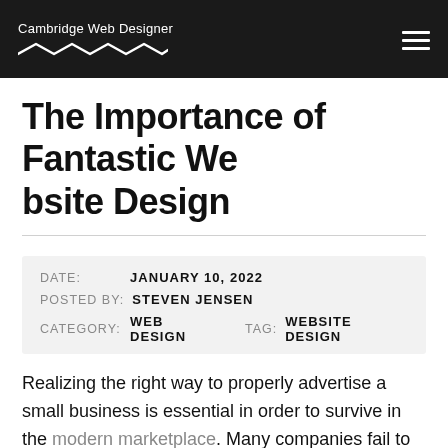Cambridge Web Designer
The Importance of Fantastic Website Design
DATE: JANUARY 10, 2022  POSTED BY: STEVEN JENSEN  CATEGORY: WEB DESIGN  TAG: WEBSITE DESIGN
Realizing the right way to properly advertise a small business is essential in order to survive in the modern marketplace. Many companies fail to see any degree of